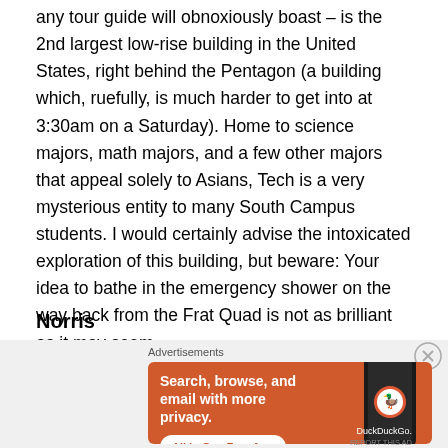any tour guide will obnoxiously boast – is the 2nd largest low-rise building in the United States, right behind the Pentagon (a building which, ruefully, is much harder to get into at 3:30am on a Saturday). Home to science majors, math majors, and a few other majors that appeal solely to Asians, Tech is a very mysterious entity to many South Campus students. I would certainly advise the intoxicated exploration of this building, but beware: Your idea to bathe in the emergency shower on the way back from the Frat Quad is not as brilliant as it may seem.
Norris
[Figure (other): DuckDuckGo advertisement banner with orange background showing 'Search, browse, and email with more privacy. All in One Free App' with DuckDuckGo logo and phone image. Close button (X) in top right corner.]